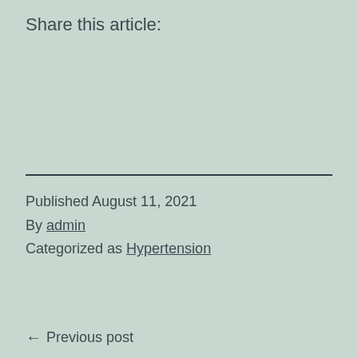Share this article:
Published August 11, 2021
By admin
Categorized as Hypertension
← Previous post